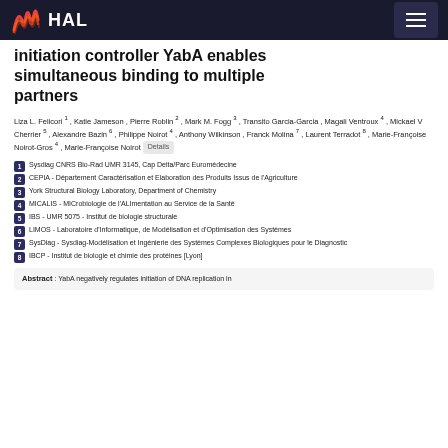HAL
initiation controller YabA enables simultaneous binding to multiple partners
Liza L. Felicori 1 , Katie Jameson , Pierre Roblin 2 , Mark M. Fogg 3 , Transito Garcia-Garcia , Magali Ventroux 4 , Mickael V Cherrier 5 , Alexandre Bazin 6 , Philippe Noirot 4 , Anthony Wilkinson , Franck Molina 7 , Laurent Terradot 8 , Marie-Françoise Noirot-Gros 4 , Marie-Françoise Noirot
1 Sysdiag CNRS Bio-Rad UMR 3145, Cap Delta/Parc Euromédecine
2 CEPIA - Département Caractérisation et Elaboration des Produits Issus de l'Agriculture
3 York Structural Biology Laboratory, Department of Chemistry
4 MICALIS - MICrobiologie de l'ALImentation au Service de la Santé
5 IBS - UMR 5075 - Institut de biologie structurale
6 LIMOS - Laboratoire d'Informatique, de Modélisation et d'Optimisation des Systèmes
7 SysDiag - Sysdiag-Modélisation et Ingénierie des Systèmes Complexes Biologiques pour le Diagnostic
8 IBCP - Institut de biologie et chimie des protéines [Lyon]
Abstract : YabA negatively regulates initiation of DNA replication in